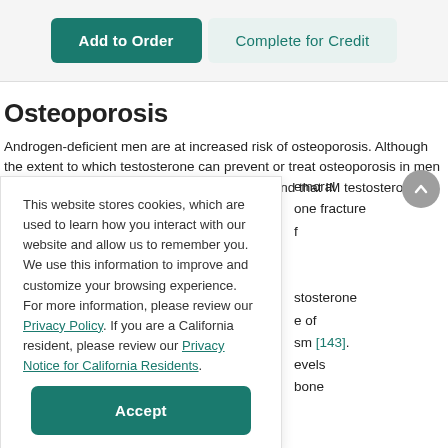[Figure (screenshot): Two buttons: 'Add to Order' (dark teal filled) and 'Complete for Credit' (light teal outlined), displayed in a top navigation bar.]
Osteoporosis
Androgen-deficient men are at increased risk of osteoporosis. Although the extent to which testosterone can prevent or treat osteoporosis in men is unclear, a meta-analysis of eight studies found that IM testosterone moderately
This website stores cookies, which are used to learn how you interact with our website and allow us to remember you. We use this information to improve and customize your browsing experience. For more information, please review our Privacy Policy. If you are a California resident, please review our Privacy Notice for California Residents.
emoral
one fracture
f
tosterone
e of
sm [143].
evels
bone